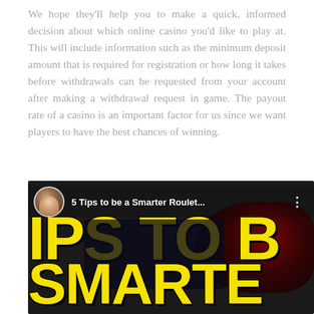We hope they'll help you to make a quick, informed decision about which online casino you'd like to play at. This will include information such as the minimum deposit amount that is required for registration or how long it takes before withdrawals can be requested from your account after making a withdrawal request in game. The payout rate of a casino is an important factor for us since we want players to have the best chances of winning.
[Figure (screenshot): Video thumbnail showing '5 Tips to be a Smarter Roulet...' with a person avatar, large yellow block letters reading 'IPS TO B' at top and 'SMARTE' at bottom on a dark background with a roulette wheel visible]